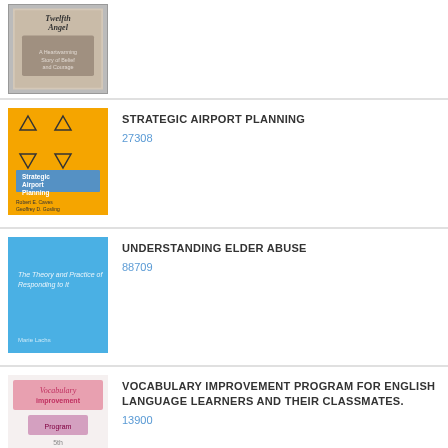[Figure (illustration): Book cover: Twelfth Angel, a heartwarming story of belief and courage, showing a child]
[Figure (illustration): Book cover: Strategic Airport Planning, orange cover with geometric shapes]
STRATEGIC AIRPORT PLANNING
27308
[Figure (illustration): Book cover: Understanding Elder Abuse, blue cover]
UNDERSTANDING ELDER ABUSE
88709
[Figure (illustration): Book cover: Vocabulary Improvement Program for English Language Learners and Their Classmates, 5th grade]
VOCABULARY IMPROVEMENT PROGRAM FOR ENGLISH LANGUAGE LEARNERS AND THEIR CLASSMATES.
13900
[Figure (illustration): Book cover: Jurassic Stratigraphy and History of North..., dark purple cover]
JURASSIC STRATIGRAPHY AND HISTORY OF NORTH...